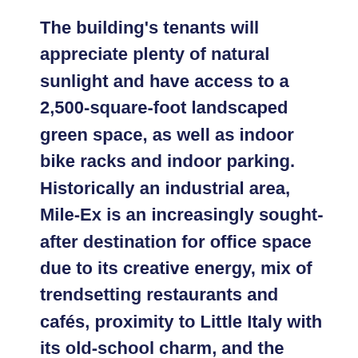The building's tenants will appreciate plenty of natural sunlight and have access to a 2,500-square-foot landscaped green space, as well as indoor bike racks and indoor parking. Historically an industrial area, Mile-Ex is an increasingly sought-after destination for office space due to its creative energy, mix of trendsetting restaurants and cafés, proximity to Little Italy with its old-school charm, and the nearby Jean-Talon Market, the city's best-known farmers' market since 1933. From 6795 Marconi, it's a short walk to the Parc metro and train stations or to De Castelnau metro.